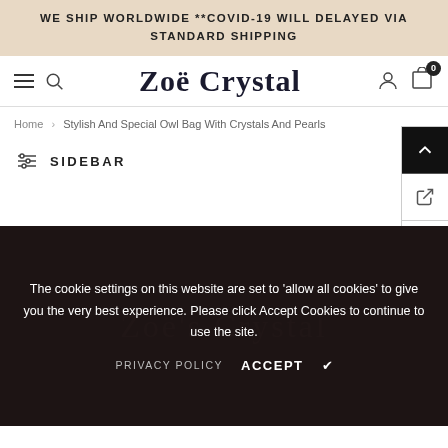WE SHIP WORLDWIDE **COVID-19 WILL DELAYED VIA STANDARD SHIPPING
[Figure (logo): Zoe Crystal script logo with navigation icons (hamburger menu, search, user, cart with badge 0)]
Home > Stylish And Special Owl Bag With Crystals And Pearls
SIDEBAR
The cookie settings on this website are set to 'allow all cookies' to give you the very best experience. Please click Accept Cookies to continue to use the site.
PRIVACY POLICY   ACCEPT ✔